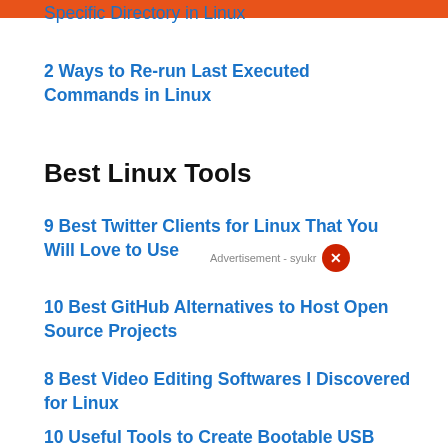Specific Directory in Linux
2 Ways to Re-run Last Executed Commands in Linux
Best Linux Tools
9 Best Twitter Clients for Linux That You Will Love to Use
10 Best GitHub Alternatives to Host Open Source Projects
8 Best Video Editing Softwares I Discovered for Linux
10 Useful Tools to Create Bootable USB